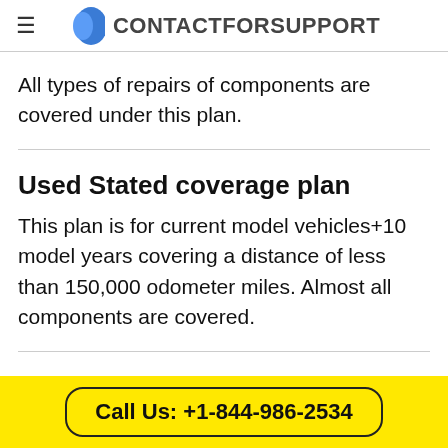CONTACTFORSUPPORT
All types of repairs of components are covered under this plan.
Used Stated coverage plan
This plan is for current model vehicles+10 model years covering a distance of less than 150,000 odometer miles. Almost all components are covered.
Call Us: +1-844-986-2534